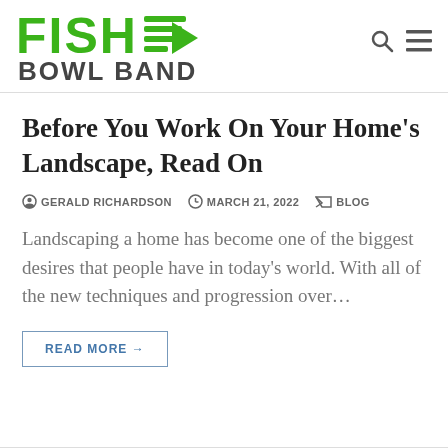FISH BOWL BAND
Before You Work On Your Home’s Landscape, Read On
GERALD RICHARDSON   MARCH 21, 2022   BLOG
Landscaping a home has become one of the biggest desires that people have in today’s world. With all of the new techniques and progression over…
READ MORE →